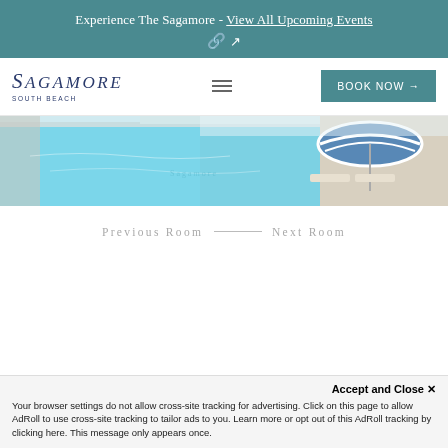Experience The Sagamore - View All Upcoming Events
[Figure (logo): Sagamore South Beach logo with italic text and subtitle]
BOOK NOW →
[Figure (photo): Aerial/overhead view of a hotel pool with blue water, white and blue striped beach umbrella, lounge chairs, and tile deck]
Previous Room —— Next Room
Accept and Close ✕
Your browser settings do not allow cross-site tracking for advertising. Click on this page to allow AdRoll to use cross-site tracking to tailor ads to you. Learn more or opt out of this AdRoll tracking by clicking here. This message only appears once.